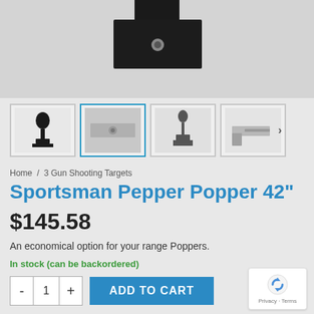[Figure (photo): Main product image showing a dark metal pepper popper target mechanism from the front/top angle, displayed against a light gray background]
[Figure (photo): Four product thumbnail images: (1) full pepper popper silhouette target in black, (2) close-up of the base mechanism with bolt, selected/active, (3) side view of pepper popper silhouette target, (4) angled view of metal base bracket. A right arrow is visible at the edge.]
Home / 3 Gun Shooting Targets
Sportsman Pepper Popper 42"
$145.58
An economical option for your range Poppers.
In stock (can be backordered)
ADD TO CART